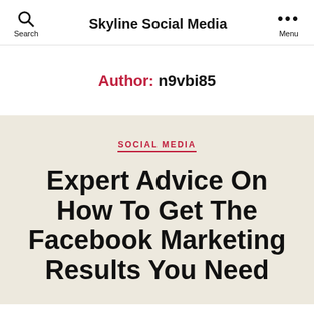Skyline Social Media
Author: n9vbi85
SOCIAL MEDIA
Expert Advice On How To Get The Facebook Marketing Results You Need